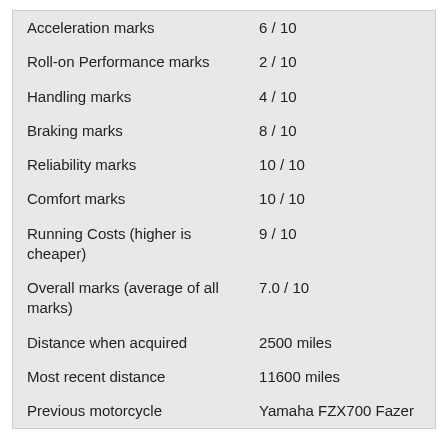| Category | Score |
| --- | --- |
| Acceleration marks | 6 / 10 |
| Roll-on Performance marks | 2 / 10 |
| Handling marks | 4 / 10 |
| Braking marks | 8 / 10 |
| Reliability marks | 10 / 10 |
| Comfort marks | 10 / 10 |
| Running Costs (higher is cheaper) | 9 / 10 |
| Overall marks (average of all marks) | 7.0 / 10 |
| Distance when acquired | 2500 miles |
| Most recent distance | 11600 miles |
| Previous motorcycle | Yamaha FZX700 Fazer |
Would you buy another motorcycle from this manufacturer?   Yes